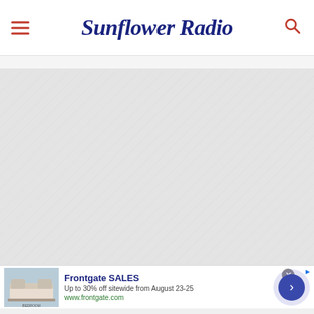Sunflower Radio
[Figure (logo): Sunflower State Radio logo: sunflower with microphone center, text 'Sunflower State Radio' and 'www.sunflowerstateradio.com' on grey background]
[Figure (other): Advertisement banner for Frontgate SALES: bedroom image, text 'Frontgate SALES', 'Up to 30% off sitewide from August 23-25', 'www.frontgate.com', close button, blue arrow button]